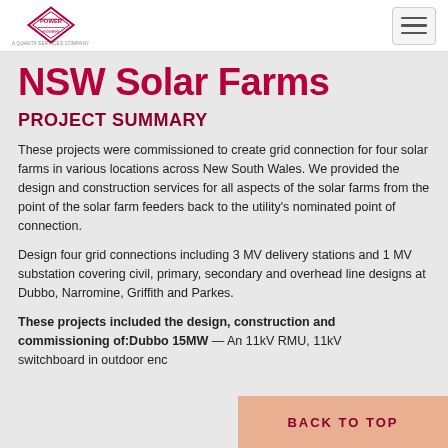POWER — A Quanta Services Company (logo) | Hamburger menu button
NSW Solar Farms
PROJECT SUMMARY
These projects were commissioned to create grid connection for four solar farms in various locations across New South Wales. We provided the design and construction services for all aspects of the solar farms from the point of the solar farm feeders back to the utility's nominated point of connection.
Design four grid connections including 3 MV delivery stations and 1 MV substation covering civil, primary, secondary and overhead line designs at Dubbo, Narromine, Griffith and Parkes.
These projects included the design, construction and commissioning of:Dubbo 15MW — An 11kV RMU, 11kV switchboard in outdoor enc...